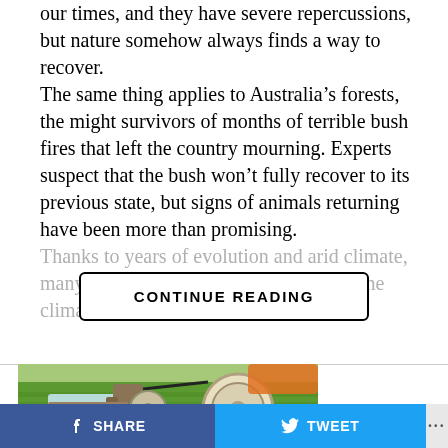our times, and they have severe repercussions, but nature somehow always finds a way to recover. The same thing applies to Australia's forests, the might survivors of months of terrible bush fires that left the country mourning. Experts suspect that the bush won't fully recover to its previous state, but signs of animals returning have been more than promising. Thanks to years of evolution and arid climate, many Australian plants have adapted to the climate and
CONTINUE READING
[Figure (photo): Agricultural irrigation pump machinery in a green field, with water flowing and a belt-driven pulley mechanism visible.]
SHARE   TWEET   ...